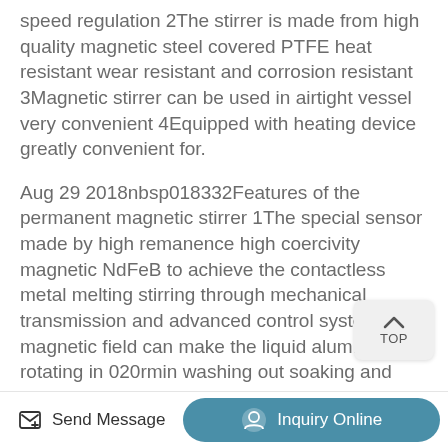speed regulation 2The stirrer is made from high quality magnetic steel covered PTFE heat resistant wear resistant and corrosion resistant 3Magnetic stirrer can be used in airtight vessel very convenient 4Equipped with heating device greatly convenient for.
Aug 29 2018nbsp018332Features of the permanent magnetic stirrer 1The special sensor made by high remanence high coercivity magnetic NdFeB to achieve the contactless metal melting stirring through mechanical transmission and advanced control systemThe magnetic field can make the liquid aluminum rotating in 020rmin washing out soaking and smelting the.
Cimarec i Maxi 5L Stirrer Thermo Scientific Use stirrers anywhere can be submerged With
Send Message   Inquiry Online